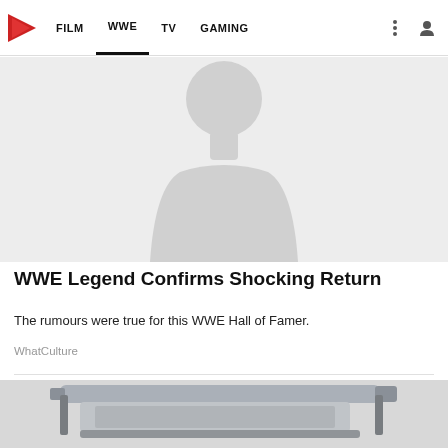FILM  WWE  TV  GAMING
[Figure (photo): Placeholder silhouette image of a person figure on light grey background]
WWE Legend Confirms Shocking Return
The rumours were true for this WWE Hall of Famer.
WhatCulture
[Figure (photo): Partial image of a kitchen appliance or grill, partially cropped at bottom of page]